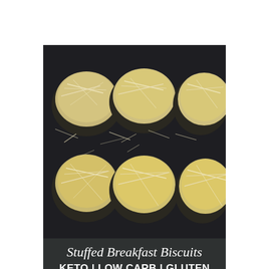[Figure (photo): Six cheese-topped stuffed breakfast biscuits in a dark muffin tin, viewed from above, with shredded white cheese scattered around them on the dark surface]
Stuffed Breakfast Biscuits
KETO | LOW CARB | GLUTEN FREE